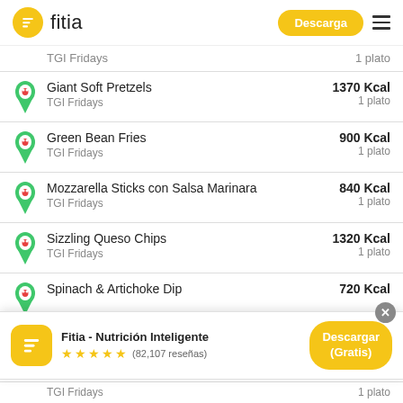fitia — Descarga
TGI Fridays — 1 plato (partial, top)
Giant Soft Pretzels — TGI Fridays — 1370 Kcal — 1 plato
Green Bean Fries — TGI Fridays — 900 Kcal — 1 plato
Mozzarella Sticks con Salsa Marinara — TGI Fridays — 840 Kcal — 1 plato
Sizzling Queso Chips — TGI Fridays — 1320 Kcal — 1 plato
Spinach & Artichoke Dip — 720 Kcal (partial)
[Figure (screenshot): App download banner: Fitia - Nutrición Inteligente, 5 stars, (82,107 reseñas), Descargar (Gratis) button]
TGI Fridays — 1 plato (partial, bottom)